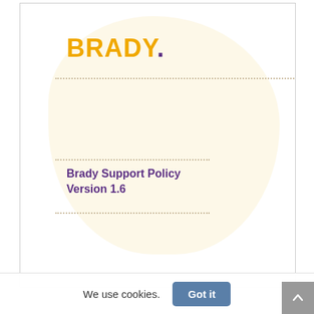[Figure (logo): Brady logo: 'BRADY' in bold orange letters followed by a purple period/dot]
Brady Support Policy Version 1.6
We use cookies.